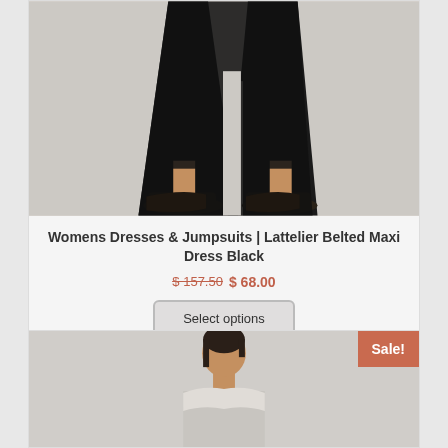[Figure (photo): Bottom half of a model wearing a black belted maxi dress with black mule shoes on a light grey background]
Womens Dresses & Jumpsuits | Lattelier Belted Maxi Dress Black
$ 157.50 $ 68.00
Select options
[Figure (photo): Model wearing a dress, head and upper body visible, with a Sale! badge in the top right corner]